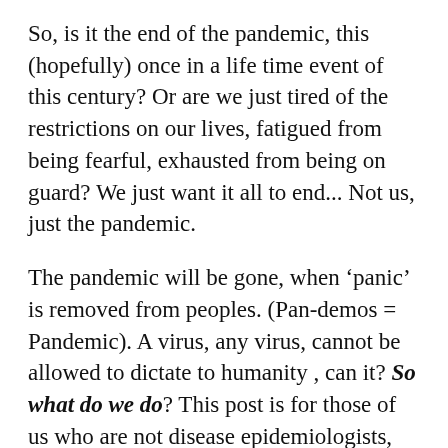So, is it the end of the pandemic, this (hopefully) once in a life time event of this century? Or are we just tired of the restrictions on our lives, fatigued from being fearful, exhausted from being on guard? We just want it all to end... Not us, just the pandemic.
The pandemic will be gone, when 'panic' is removed from peoples. (Pan-demos = Pandemic). A virus, any virus, cannot be allowed to dictate to humanity , can it? So what do we do? This post is for those of us who are not disease epidemiologists, for those of us who know naught about communicable diseases, for those of us who are as concerned as anyone else. I am all three, so you can take me at face value and assign credibility to what I